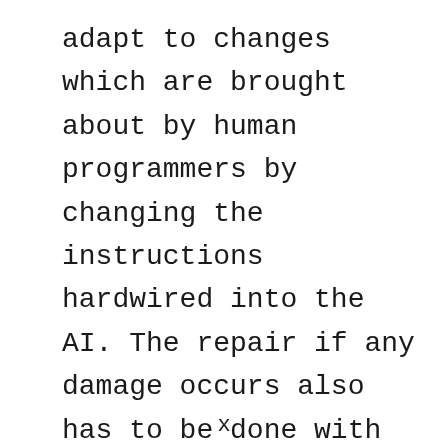adapt to changes which are brought about by human programmers by changing the instructions hardwired into the AI. The repair if any damage occurs also has to be done with considerable effort so as not to effect the working of the system.
x